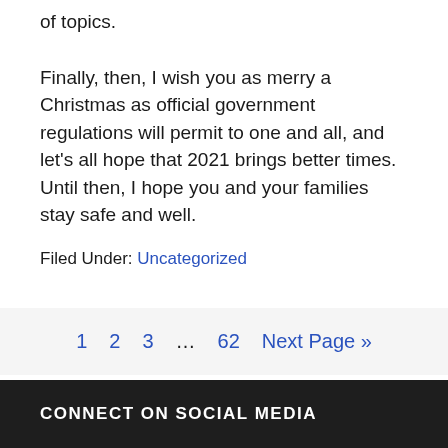of topics.
Finally, then, I wish you as merry a Christmas as official government regulations will permit to one and all, and let’s all hope that 2021 brings better times. Until then, I hope you and your families stay safe and well.
Filed Under: Uncategorized
1  2  3  …  62  Next Page »
CONNECT ON SOCIAL MEDIA